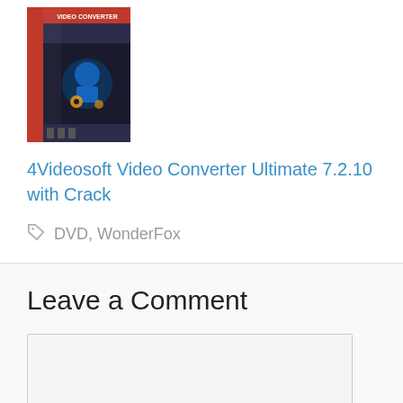[Figure (photo): Product box image for 4Videosoft Video Converter software on dark background with robot/mechanical graphics]
4Videosoft Video Converter Ultimate 7.2.10 with Crack
DVD, WonderFox
Leave a Comment